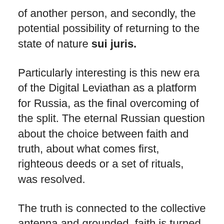of another person, and secondly, the potential possibility of returning to the state of nature sui juris.
Particularly interesting is this new era of the Digital Leviathan as a platform for Russia, as the final overcoming of the split. The eternal Russian question about the choice between faith and truth, about what comes first, righteous deeds or a set of rituals, was resolved.
The truth is connected to the collective antenna and grounded, faith is turned into a schedule of allowed walks.